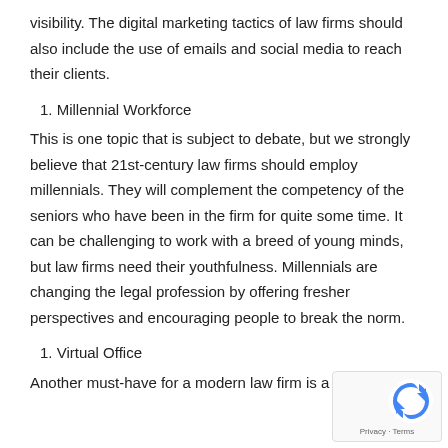visibility. The digital marketing tactics of law firms should also include the use of emails and social media to reach their clients.
1. Millennial Workforce
This is one topic that is subject to debate, but we strongly believe that 21st-century law firms should employ millennials. They will complement the competency of the seniors who have been in the firm for quite some time. It can be challenging to work with a breed of young minds, but law firms need their youthfulness. Millennials are changing the legal profession by offering fresher perspectives and encouraging people to break the norm.
1. Virtual Office
Another must-have for a modern law firm is a virtual